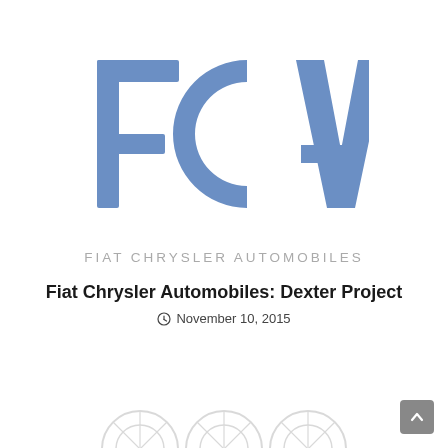[Figure (logo): FCA Fiat Chrysler Automobiles logo — large blue stylized letters F, C, A with the text FIAT CHRYSLER AUTOMOBILES in light grey below]
Fiat Chrysler Automobiles: Dexter Project
November 10, 2015